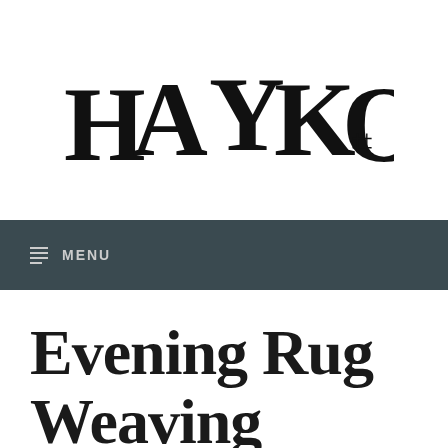[Figure (logo): HAYKO logo in stylized serif/decorative lettering, black on white background]
≡ MENU
Evening Rug Weaving Workshop – Thi…